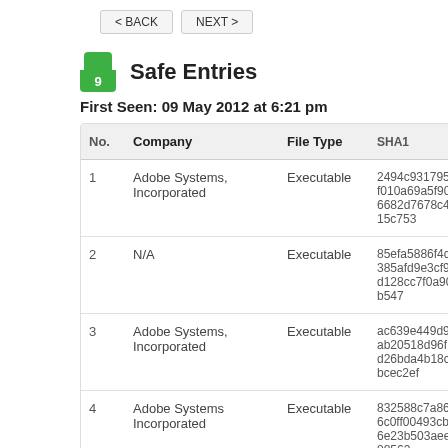< BACK   NEXT >
Safe Entries
First Seen: 09 May 2012 at 6:21 pm
| No. | Company | File Type | SHA1 |
| --- | --- | --- | --- |
| 1 | Adobe Systems, Incorporated | Executable | 2494c931795f010a69a5f906682d7678c415c753 |
| 2 | N/A | Executable | 85efa5886f4c385afd9e3cf9d128cc7f0a90b547 |
| 3 | Adobe Systems, Incorporated | Executable | ac639e449d9ab20518d96fd26bda4b18cbcec2ef |
| 4 | Adobe Systems Incorporated | Executable | 832588c7a866c0ff00493cbf6e23b503aee08563 |